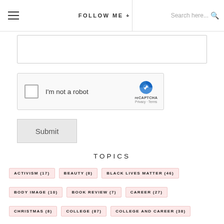FOLLOW ME +   Search here...
[Figure (screenshot): Text input box (form field, partially visible at top)]
[Figure (screenshot): Google reCAPTCHA widget with checkbox labeled 'I'm not a robot']
Submit
TOPICS
ACTIVISM (17)   BEAUTY (8)   BLACK LIVES MATTER (46)
BODY IMAGE (10)   BOOK REVIEW (7)   CAREER (27)
CHRISTMAS (8)   COLLEGE (87)   COLLEGE AND CAREER (38)